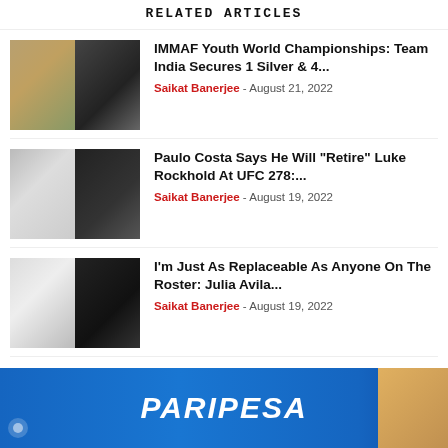RELATED ARTICLES
IMMAF Youth World Championships: Team India Secures 1 Silver & 4... Saikat Banerjee - August 21, 2022
Paulo Costa Says He Will "Retire" Luke Rockhold At UFC 278:... Saikat Banerjee - August 19, 2022
I'm Just As Replaceable As Anyone On The Roster: Julia Avila... Saikat Banerjee - August 19, 2022
[Figure (infographic): PARIPESA advertisement banner with blue gradient background and female figure on right]